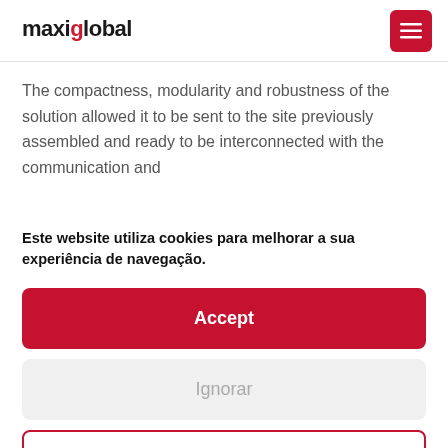[Figure (logo): maxiglobal logo in dark text with red accent]
[Figure (other): Red hamburger menu button in top right corner]
The compactness, modularity and robustness of the solution allowed it to be sent to the site previously assembled and ready to be interconnected with the communication and
Este website utiliza cookies para melhorar a sua experiência de navegação.
Accept
Ignorar
Ver Preferências
Cookies Policy